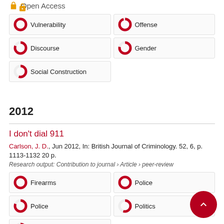Open Access
Vulnerability
Offense
Discourse
Gender
Social Construction
2012
I don't dial 911
Carlson, J. D., Jun 2012, In: British Journal of Criminology. 52, 6, p. 1113-1132 20 p.
Research output: Contribution to journal › Article › peer-review
Firearms
Police
Police
Politics
Law Enforcement